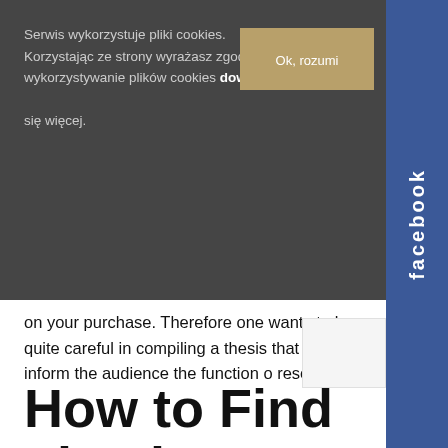Serwis wykorzystuje pliki cookies. Korzystając ze strony wyrażasz zgodę na wykorzystywanie plików cookies dowiedz się więcej.
Ok, rozumie
facebook
on your purchase. Therefore one wants to be quite careful in compiling a thesis that must inform the audience the function of research.
How to Find Thesis Writing Help on the Web
The best thing of our thesis writing help is that we may write dissertation http://oau.edu.sd/site/index.php?